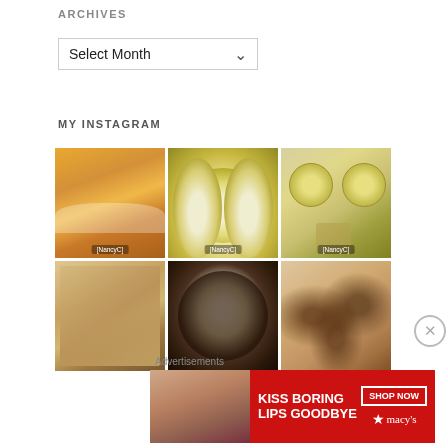ARCHIVES
[Figure (screenshot): Select Month dropdown widget]
MY INSTAGRAM
[Figure (photo): Grid of Instagram food photos: cheesy squares, deviled eggs, egg salad in bowls, chicken salad, trail mix/nuts, chocolate chip cookies]
[Figure (infographic): Macy's advertisement banner: KISS BORING LIPS GOODBYE - SHOP NOW macy's]
Advertisements